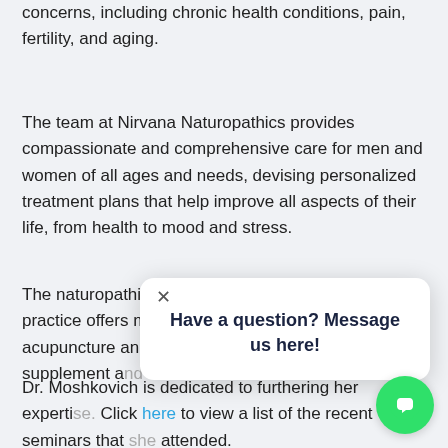concerns, including chronic health conditions, pain, fertility, and aging.
The team at Nirvana Naturopathics provides compassionate and comprehensive care for men and women of all ages and needs, devising personalized treatment plans that help improve all aspects of their life, from health to mood and stress.
The naturopathic and traditional Chinese medicine practice offers many holistic treatments, including acupuncture and acupressure, nutrition counseling, supplement and...
Dr. Moshkovich is dedicated to furthering her expertise. Click here to view a list of the recent seminars that she attended.